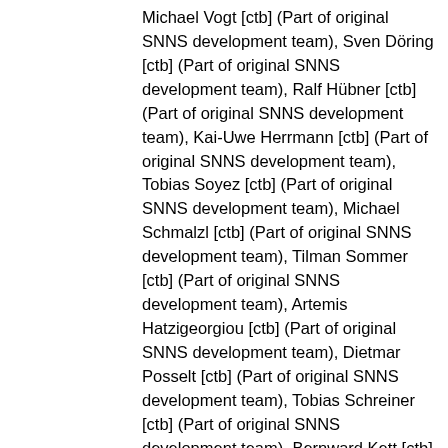Michael Vogt [ctb] (Part of original SNNS development team), Sven Döring [ctb] (Part of original SNNS development team), Ralf Hübner [ctb] (Part of original SNNS development team), Kai-Uwe Herrmann [ctb] (Part of original SNNS development team), Tobias Soyez [ctb] (Part of original SNNS development team), Michael Schmalzl [ctb] (Part of original SNNS development team), Tilman Sommer [ctb] (Part of original SNNS development team), Artemis Hatzigeorgiou [ctb] (Part of original SNNS development team), Dietmar Posselt [ctb] (Part of original SNNS development team), Tobias Schreiner [ctb] (Part of original SNNS development team), Bernward Kett [ctb] (Part of original SNNS development team), Martin Reczko [ctb] (Part of original SNNS external contributors), Martin Riedmiller [ctb] (Part of original SNNS external contributors), Mark Seemann [ctb] (Part of original SNNS external contributors), Marcus Ritt [ctb] (Part of original SNNS external contributors), Jamie DeCoster [ctb] (Part of original SNNS external contributors), Jochen Biedermann